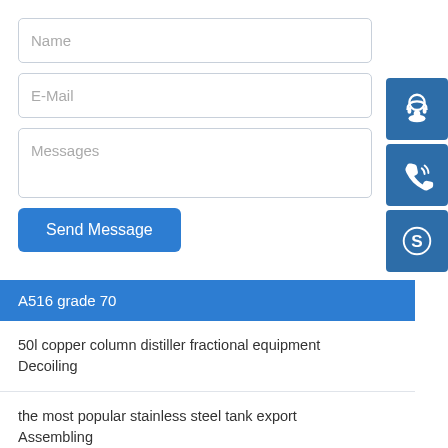Name
E-Mail
Messages
Send Message
[Figure (illustration): Blue support/headset icon button on sidebar]
[Figure (illustration): Blue phone/call icon button on sidebar]
[Figure (illustration): Blue Skype icon button on sidebar]
A516 grade 70
50l copper column distiller fractional equipment
Decoiling
the most popular stainless steel tank export
Assembling